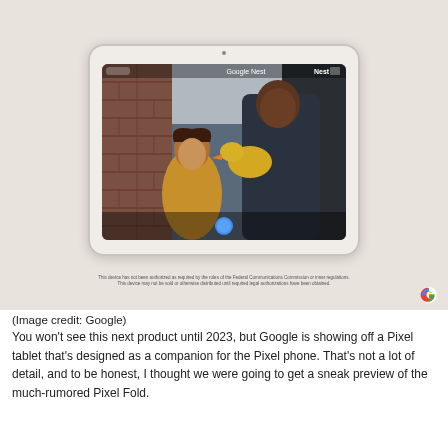[Figure (photo): A Google Nest Hub or Pixel Tablet device showing a video feed of a young girl and a man holding a toy duck at a doorway, displayed on a tablet screen against a warm beige background. A Google logo watermark appears in the bottom right corner. Below the tablet image is small disclaimer text.]
(Image credit: Google)
You won't see this next product until 2023, but Google is showing off a Pixel tablet that's designed as a companion for the Pixel phone. That's not a lot of detail, and to be honest, I thought we were going to get a sneak preview of the much-rumored Pixel Fold.